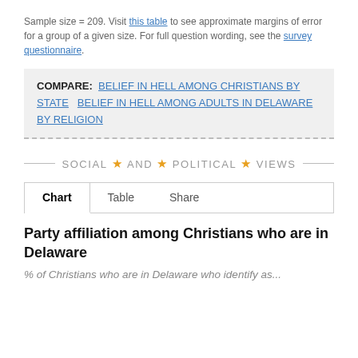Sample size = 209. Visit this table to see approximate margins of error for a group of a given size. For full question wording, see the survey questionnaire.
COMPARE: BELIEF IN HELL AMONG CHRISTIANS BY STATE   BELIEF IN HELL AMONG ADULTS IN DELAWARE BY RELIGION
SOCIAL ★ AND ★ POLITICAL ★ VIEWS
Party affiliation among Christians who are in Delaware
% of Christians who are in Delaware who identify as...